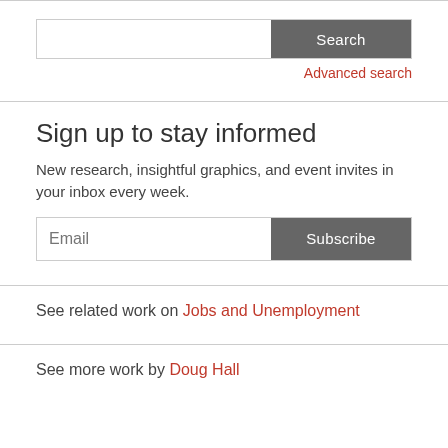[Figure (screenshot): Search bar with text input field and dark grey Search button]
Advanced search
Sign up to stay informed
New research, insightful graphics, and event invites in your inbox every week.
[Figure (screenshot): Email input field with dark grey Subscribe button]
See related work on Jobs and Unemployment
See more work by Doug Hall